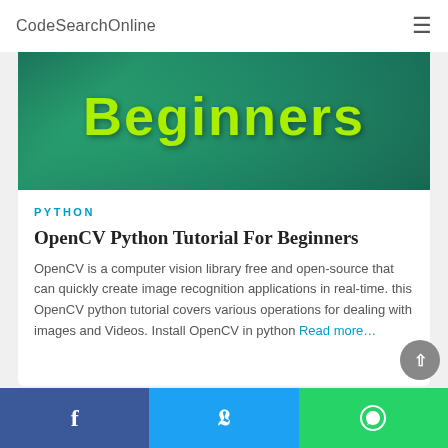CodeSearchOnline
[Figure (illustration): Banner image with teal/green snake-skin background and large yellow-green text reading 'Beginners']
PYTHON
OpenCV Python Tutorial For Beginners
OpenCV is a computer vision library free and open-source that can quickly create image recognition applications in real-time. this OpenCV python tutorial covers various operations for dealing with images and Videos. Install OpenCV in python Read more…